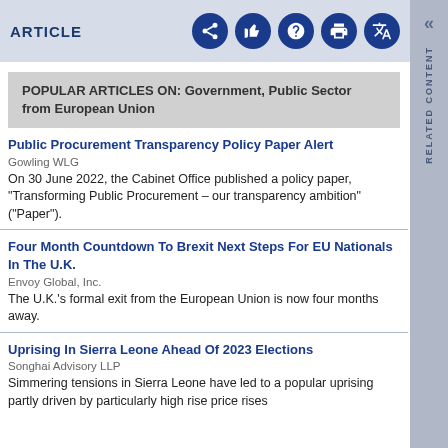ARTICLE
POPULAR ARTICLES ON: Government, Public Sector from European Union
Public Procurement Transparency Policy Paper Alert
Gowling WLG
On 30 June 2022, the Cabinet Office published a policy paper, "Transforming Public Procurement – our transparency ambition" ("Paper").
Four Month Countdown To Brexit Next Steps For EU Nationals In The U.K.
Envoy Global, Inc.
The U.K.'s formal exit from the European Union is now four months away.
Uprising In Sierra Leone Ahead Of 2023 Elections
Songhai Advisory LLP
Simmering tensions in Sierra Leone have led to a popular uprising partly driven by particularly high rise price rises